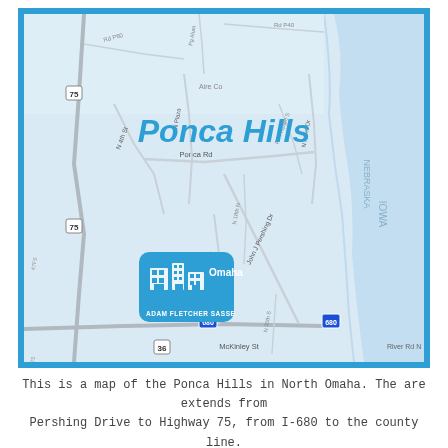[Figure (map): A map of Ponca Hills in North Omaha, Nebraska. The map shows roads including John J Pershing Dr, Ponca Rd, Calhoun Rd, McKinley St, Highway 75, I-680, and Route 36. The Missouri River (marking the Nebraska/Iowa border) is visible on the right. The label 'Ponca Hills' appears in large bold blue italic text in the upper center of the map. A blue location pin/icon with 'Omaha' branding and 'ADAM FLETCHER SASSE' text appears in the lower left of the map.]
This is a map of the Ponca Hills in North Omaha. The are extends from Pershing Drive to Highway 75, from I-680 to the county line.